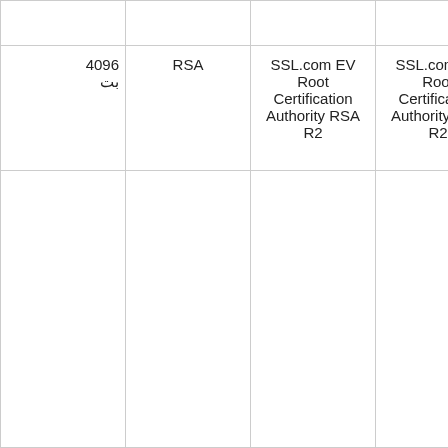|  |  |  |  |
| --- | --- | --- | --- |
| 4096 بت | RSA | SSL.com EV Root Certification Authority RSA R2 | SSL.com EV Root Certification Authority RSA R2 |